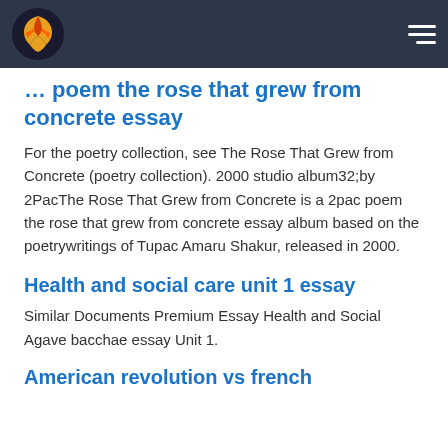… poem the rose that grew from concrete essay
For the poetry collection, see The Rose That Grew from Concrete (poetry collection). 2000 studio album32;by 2PacThe Rose That Grew from Concrete is a 2pac poem the rose that grew from concrete essay album based on the poetrywritings of Tupac Amaru Shakur, released in 2000.
Health and social care unit 1 essay
Similar Documents Premium Essay Health and Social Agave bacchae essay Unit 1.
American revolution vs french